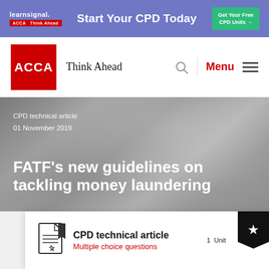[Figure (screenshot): Learnsignal banner ad with purple/blue background reading 'Start Your CPD Today' with a green 'Get Your Free CPD Units' button]
ACCA Think Ahead
[Figure (screenshot): Hero image with gray/silver blurred background showing article metadata and title]
CPD technical article
01 November 2019
FATF's new guidelines on tackling money laundering
CPD technical article
Multiple choice questions
1 Unit